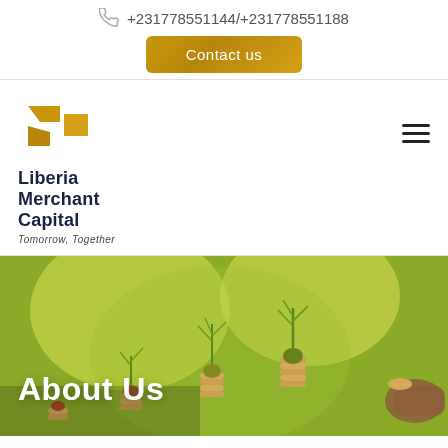+231778551144/+231778551188
Contact us
[Figure (logo): Liberia Merchant Capital logo with gold angular shapes and company name]
Liberia Merchant Capital
Tomorrow, Together
[Figure (photo): Hero image showing plants growing from stacks of coins with a hand placing a coin, green bokeh background. Overlaid with 'About Us' heading.]
About Us